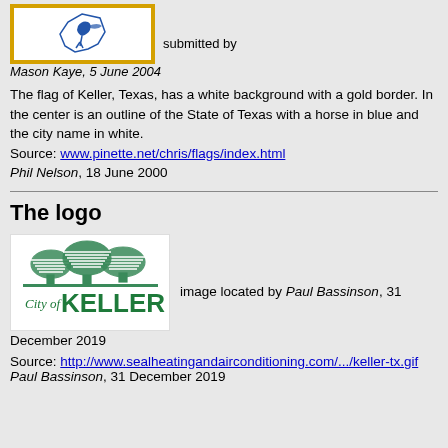[Figure (illustration): Flag of Keller, Texas — white background with gold border, outline of Texas with a horse in blue, city name in white]
submitted by Mason Kaye, 5 June 2004
The flag of Keller, Texas, has a white background with a gold border. In the center is an outline of the State of Texas with a horse in blue and the city name in white.
Source: www.pinette.net/chris/flags/index.html
Phil Nelson, 18 June 2000
The logo
[Figure (logo): City of Keller logo — green stylized trees above the text 'City of KELLER' in green]
image located by Paul Bassinson, 31 December 2019
Source: http://www.sealheatingandairconditioning.com/.../keller-tx.gif
Paul Bassinson, 31 December 2019